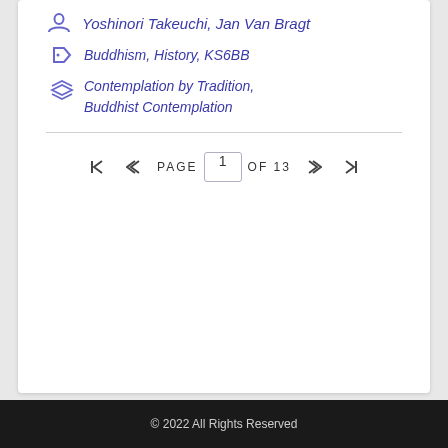Yoshinori Takeuchi, Jan Van Bragt
Buddhism, History, KS6BB
Contemplation by Tradition, Buddhist Contemplation
PAGE 1 OF 13
© 2022 All Rights Reserved